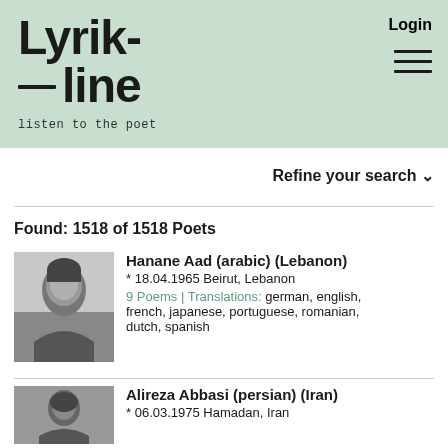[Figure (logo): Lyrik-line logo with tagline 'listen to the poet' on green background]
Login
Refine your search ∨
Found: 1518 of 1518 Poets
[Figure (photo): Black and white photo of Hanane Aad]
Hanane Aad (arabic) (Lebanon)
* 18.04.1965 Beirut, Lebanon
9 Poems | Translations: german, english, french, japanese, portuguese, romanian, dutch, spanish
[Figure (photo): Black and white photo of Alireza Abbasi]
Alireza Abbasi (persian) (Iran)
* 06.03.1975 Hamadan, Iran